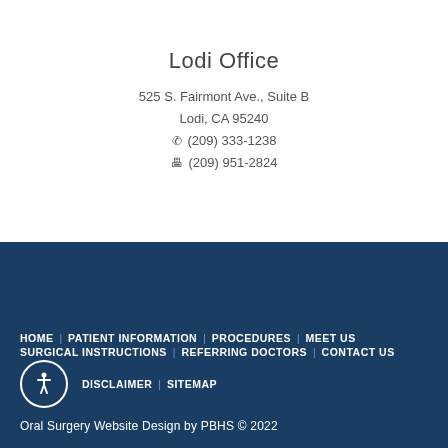Lodi Office
525 S. Fairmont Ave., Suite B
Lodi, CA 95240
☎ (209) 333-1238
🖨 (209) 951-2824
HOME | PATIENT INFORMATION | PROCEDURES | MEET US | SURGICAL INSTRUCTIONS | REFERRING DOCTORS | CONTACT US | DISCLAIMER | SITEMAP
Oral Surgery Website Design by PBHS © 2022